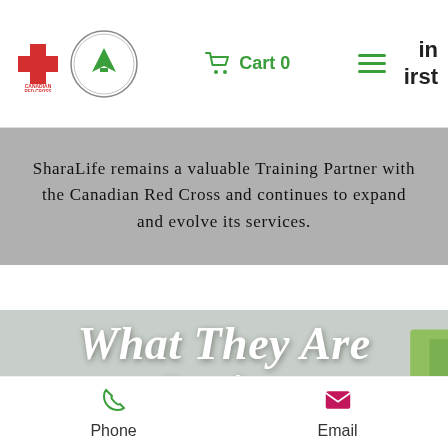[Figure (screenshot): Website navigation bar with Canadian Red Cross logo, SharaLife First Aid logo, green cart icon with 'Cart 0', green hamburger menu, and partial text 'in first']
SharaLife remains a valuable Training Partner with the Canadian Red Cross and continues to expand and evolve its services.
[Figure (photo): Photo of people in a first aid training session with overlay text 'What They Are Saying' and quote 'Chris is at another level of instruction. He not only allows you to gain the knowledge and skills, but also']
Phone   Email